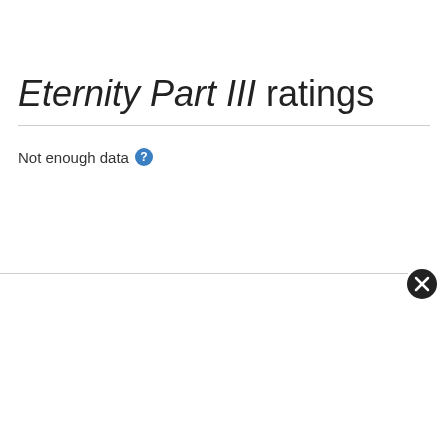Eternity Part III ratings
Not enough data